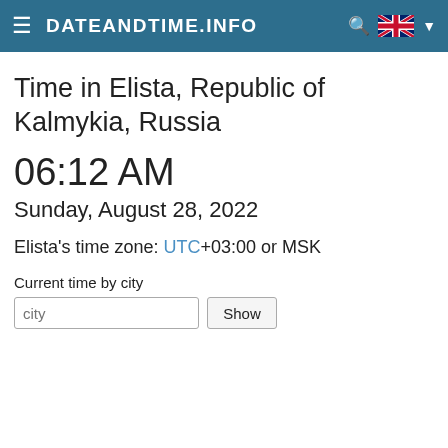DATEANDTIME.INFO
Time in Elista, Republic of Kalmykia, Russia
06:12 AM
Sunday, August 28, 2022
Elista's time zone: UTC+03:00 or MSK
Current time by city
city  Show